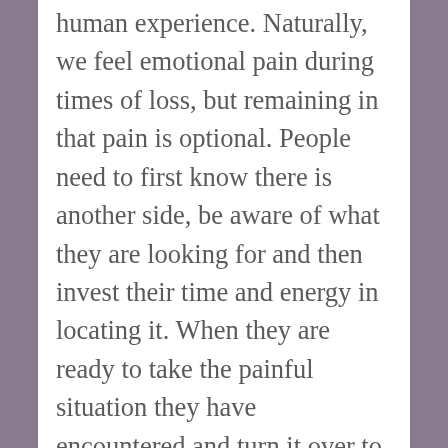human experience. Naturally, we feel emotional pain during times of loss, but remaining in that pain is optional. People need to first know there is another side, be aware of what they are looking for and then invest their time and energy in locating it. When they are ready to take the painful situation they have encountered and turn it over to see the other side, they are ready to work toward finding hope.
In the meantime, something with